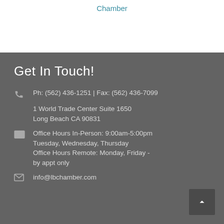Chamber
Get In Touch!
Ph: (562) 436-1251 | Fax: (562) 436-7099
1 World Trade Center Suite 1650 Long Beach CA 90831
Office Hours In-Person: 9:00am-5:00pm Tuesday, Wednesday, Thursday Office Hours Remote: Monday, Friday - by appt only
info@lbchamber.com